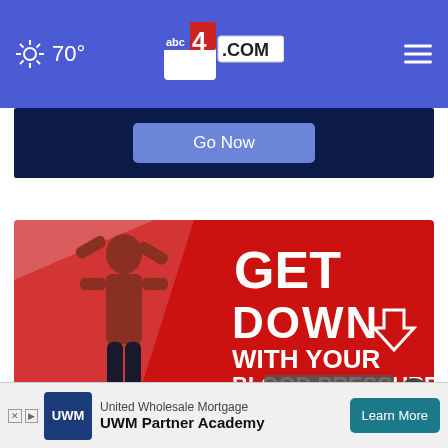70° abc4.com
[Figure (screenshot): Go Now button on dark blue banner background]
[Figure (infographic): Red advertisement banner: GET DOWN WITH YOUR BLOOD PRESSURE - ACT NOW, featuring a woman flexing muscles]
[Figure (infographic): UWM United Wholesale Mortgage - UWM Partner Academy advertisement banner with Learn More button]